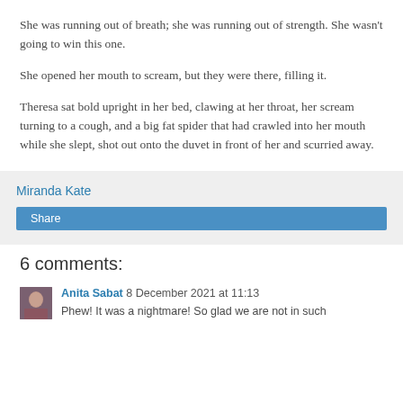She was running out of breath; she was running out of strength. She wasn't going to win this one.
She opened her mouth to scream, but they were there, filling it.
Theresa sat bold upright in her bed, clawing at her throat, her scream turning to a cough, and a big fat spider that had crawled into her mouth while she slept, shot out onto the duvet in front of her and scurried away.
Miranda Kate
Share
6 comments:
Anita Sabat 8 December 2021 at 11:13
Phew! It was a nightmare! So glad we are not in such